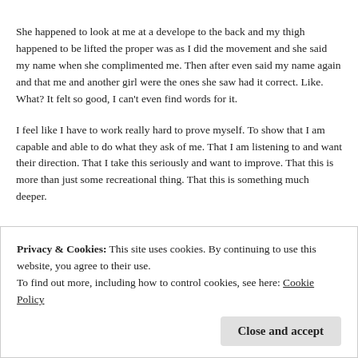She happened to look at me at a develope to the back and my thigh happened to be lifted the proper was as I did the movement and she said my name when she complimented me. Then after even said my name again and that me and another girl were the ones she saw had it correct. Like. What? It felt so good, I can't even find words for it.
I feel like I have to work really hard to prove myself. To show that I am capable and able to do what they ask of me. That I am listening to and want their direction. That I take this seriously and want to improve. That this is more than just some recreational thing. That this is something much deeper.
Privacy & Cookies: This site uses cookies. By continuing to use this website, you agree to their use.
To find out more, including how to control cookies, see here: Cookie Policy
Close and accept